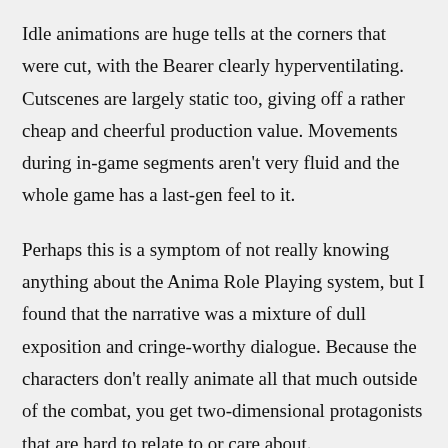Idle animations are huge tells at the corners that were cut, with the Bearer clearly hyperventilating. Cutscenes are largely static too, giving off a rather cheap and cheerful production value. Movements during in-game segments aren't very fluid and the whole game has a last-gen feel to it.
Perhaps this is a symptom of not really knowing anything about the Anima Role Playing system, but I found that the narrative was a mixture of dull exposition and cringe-worthy dialogue. Because the characters don't really animate all that much outside of the combat, you get two-dimensional protagonists that are hard to relate to or care about.
The Bearer for example is a brooding lass who can't remember her name, while her book companion Ergo is an